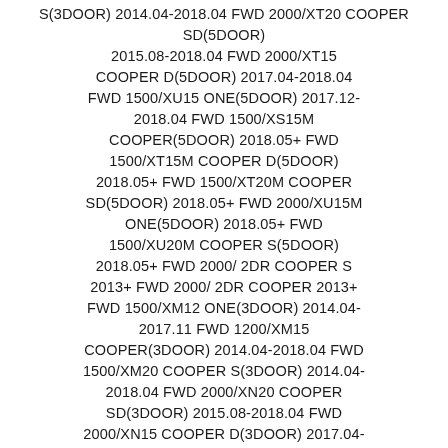S(3DOOR) 2014.04-2018.04 FWD 2000/XT20 COOPER SD(5DOOR) 2015.08-2018.04 FWD 2000/XT15 COOPER D(5DOOR) 2017.04-2018.04 FWD 1500/XU15 ONE(5DOOR) 2017.12-2018.04 FWD 1500/XS15M COOPER(5DOOR) 2018.05+ FWD 1500/XT15M COOPER D(5DOOR) 2018.05+ FWD 1500/XT20M COOPER SD(5DOOR) 2018.05+ FWD 2000/XU15M ONE(5DOOR) 2018.05+ FWD 1500/XU20M COOPER S(5DOOR) 2018.05+ FWD 2000/ 2DR COOPER S 2013+ FWD 2000/ 2DR COOPER 2013+ FWD 1500/XM12 ONE(3DOOR) 2014.04-2017.11 FWD 1200/XM15 COOPER(3DOOR) 2014.04-2018.04 FWD 1500/XM20 COOPER S(3DOOR) 2014.04-2018.04 FWD 2000/XN20 COOPER SD(3DOOR) 2015.08-2018.04 FWD 2000/XN15 COOPER D(3DOOR) 2017.04-2018.04 FWD 1500/XR15 ONE(3DOOR) 2017.12-2018.04 FWD 1500/XM15M COOPER(3DOOR) 2018.05+ FWD 1500/XN15M COOPER D(3DOOR) 2018.05+ FWD 1500/XN20M COOPER SD(3DOOR) 2018.05+ FWD 2000/XR15M